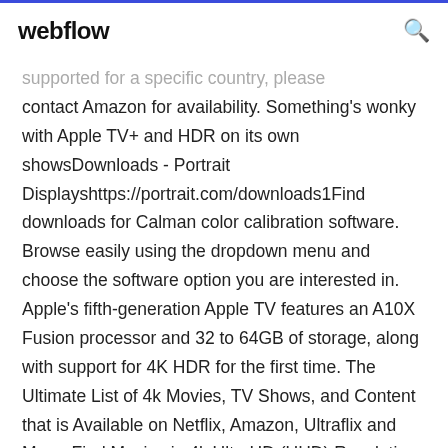webflow
supported for a specific country, please contact Amazon for availability. Something's wonky with Apple TV+ and HDR on its own showsDownloads - Portrait Displayshttps://portrait.com/downloads1Find downloads for Calman color calibration software. Browse easily using the dropdown menu and choose the software option you are interested in. Apple's fifth-generation Apple TV features an A10X Fusion processor and 32 to 64GB of storage, along with support for 4K HDR for the first time. The Ultimate List of 4k Movies, TV Shows, and Content that is Available on Netflix, Amazon, Ultraflix and More. Find Movies in 4k UltraHD (UHD) Resolution. Andrew